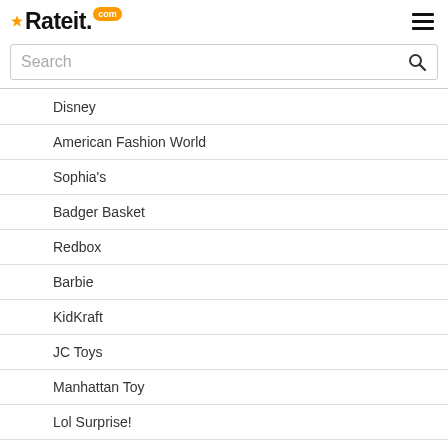[Figure (logo): Rateit.com logo with star icon and orange badge]
Search
Disney
American Fashion World
Sophia's
Badger Basket
Redbox
Barbie
KidKraft
JC Toys
Manhattan Toy
Lol Surprise!
Olivia's Little World
Adora